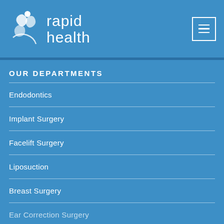[Figure (logo): Rapid Health logo with stylized figure icon and text 'rapid health' in white on blue background]
OUR DEPARTMENTS
Endodontics
Implant Surgery
Facelift Surgery
Liposuction
Breast Surgery
Ear Correction Surgery